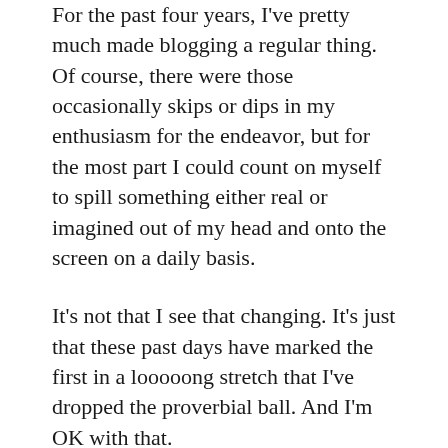For the past four years, I've pretty much made blogging a regular thing. Of course, there were those occasionally skips or dips in my enthusiasm for the endeavor, but for the most part I could count on myself to spill something either real or imagined out of my head and onto the screen on a daily basis.
It's not that I see that changing. It's just that these past days have marked the first in a looooong stretch that I've dropped the proverbial ball. And I'm OK with that.
But instead of letting another day go by without posting I figured I'd just check in and say I'm still here. Just busy. Finished up a rewrite of a travel piece that the LA Times may want, and rewarded myself tonight with a 26-mile bike ride among a group of folks from the Southern California Institute of Architecture. We went from the Arts